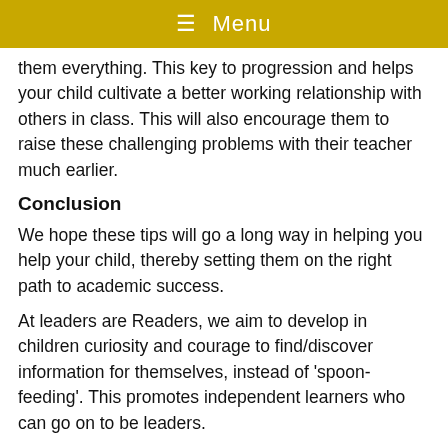≡ Menu
them everything. This key to progression and helps your child cultivate a better working relationship with others in class. This will also encourage them to raise these challenging problems with their teacher much earlier.
Conclusion
We hope these tips will go a long way in helping you help your child, thereby setting them on the right path to academic success.
At leaders are Readers, we aim to develop in children curiosity and courage to find/discover information for themselves, instead of 'spoon-feeding'. This promotes independent learners who can go on to be leaders.